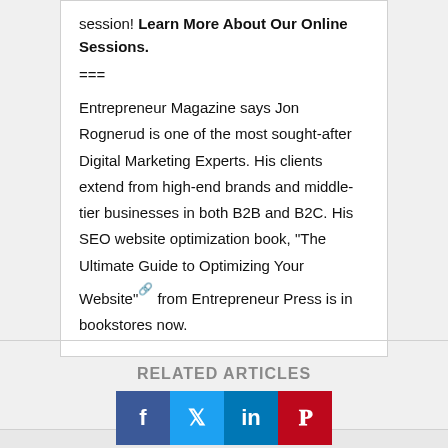session! Learn More About Our Online Sessions.
===
Entrepreneur Magazine says Jon Rognerud is one of the most sought-after Digital Marketing Experts. His clients extend from high-end brands and middle-tier businesses in both B2B and B2C. His SEO website optimization book, "The Ultimate Guide to Optimizing Your Website" from Entrepreneur Press is in bookstores now.
RELATED ARTICLES
[Figure (other): Social sharing buttons: Facebook (blue), Twitter (light blue), LinkedIn (dark blue), Pinterest (red)]